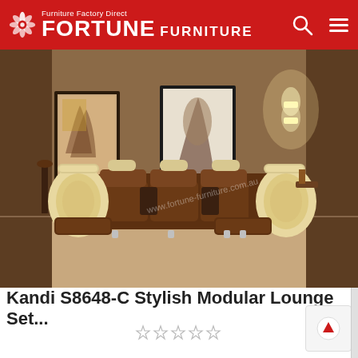FORTUNE Furniture Factory Direct FURNITURE
[Figure (photo): A large modular corner lounge set (Kandi S8648-C) with brown leather seating and cream/beige curved side panels, displayed in a warm brown-toned living room with artwork on the walls and wall-mounted lights.]
Kandi S8648-C Stylish Modular Lounge Set...